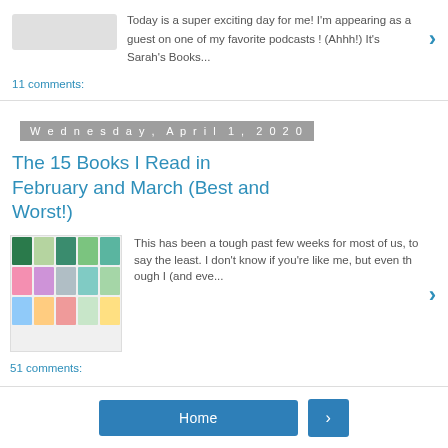Today is a super exciting day for me! I'm appearing as a guest on one of my favorite podcasts ! (Ahhh!) It's Sarah's Books...
11 comments:
Wednesday, April 1, 2020
The 15 Books I Read in February and March (Best and Worst!)
This has been a tough past few weeks for most of us, to say the least. I don't know if you're like me, but even th ough I (and eve...
51 comments:
Home
View web version
Powered by Blogger.